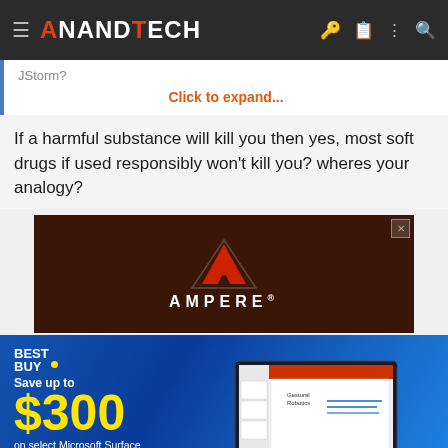AnandTech
JStorm?
Click to expand...
If a harmful substance will kill you then yes, most soft drugs if used responsibly won't kill you? wheres your analogy?
[Figure (other): Ampere advertisement banner with red triangle logo and dark brown background]
[Figure (other): Best Buy advertisement: Save up to $300 on select Microsoft Surface products for back-to-school. Shop Now button with laptop image.]